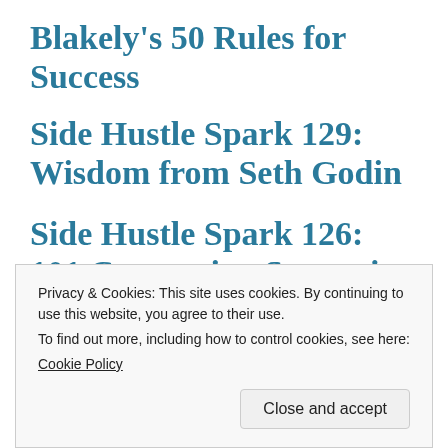Blakely's 50 Rules for Success
Side Hustle Spark 129: Wisdom from Seth Godin
Side Hustle Spark 126: 101 Conversion Strategies (Copyblogger)
Privacy & Cookies: This site uses cookies. By continuing to use this website, you agree to their use.
To find out more, including how to control cookies, see here:
Cookie Policy
Close and accept